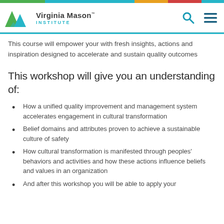[Figure (logo): Virginia Mason Institute logo with green and teal mountain-like letter M icon and company name]
This course will empower your with fresh insights, actions and inspiration designed to accelerate and sustain quality outcomes
This workshop will give you an understanding of:
How a unified quality improvement and management system accelerates engagement in cultural transformation
Belief domains and attributes proven to achieve a sustainable culture of safety
How cultural transformation is manifested through peoples' behaviors and activities and how these actions influence beliefs and values in an organization
And after this workshop you will be able to apply your